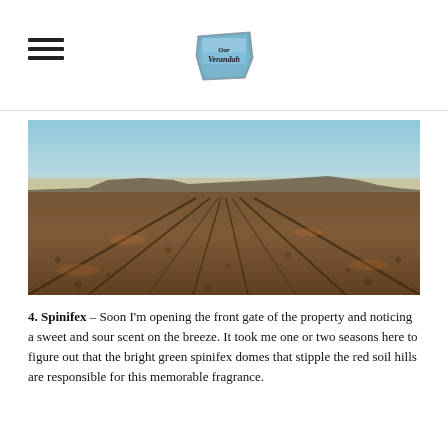[hamburger menu icon] Our Verandah [logo]
[Figure (photo): Wide flat outback dirt track with tyre tracks converging toward a distant mesa under a warm orange and pale blue sunset sky.]
4. Spinifex – Soon I'm opening the front gate of the property and noticing a sweet and sour scent on the breeze. It took me one or two seasons here to figure out that the bright green spinifex domes that stipple the red soil hills are responsible for this memorable fragrance.